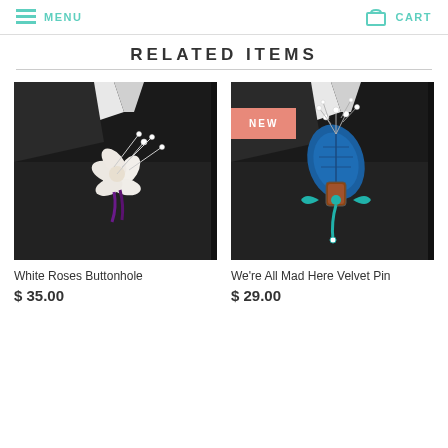MENU   CART
RELATED ITEMS
[Figure (photo): Close-up photo of a white flower boutonniere with pearl-tipped pins on a black suit lapel with purple ribbon.]
White Roses Buttonhole
$ 35.00
[Figure (photo): Close-up photo of a teal/blue velvet boutonniere with pearl-tipped wire branches and a teal ribbon bow on a black suit lapel. Has a pink NEW badge.]
We're All Mad Here Velvet Pin
$ 29.00